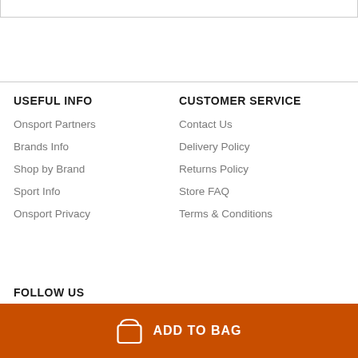USEFUL INFO
Onsport Partners
Brands Info
Shop by Brand
Sport Info
Onsport Privacy
CUSTOMER SERVICE
Contact Us
Delivery Policy
Returns Policy
Store FAQ
Terms & Conditions
FOLLOW US
ADD TO BAG